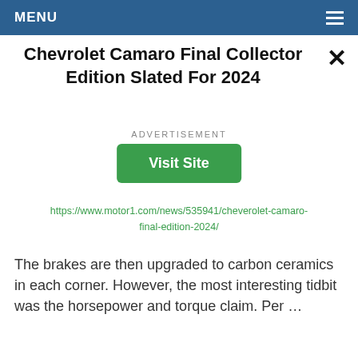MENU
Chevrolet Camaro Final Collector Edition Slated For 2024
ADVERTISEMENT
Visit Site
https://www.motor1.com/news/535941/cheverolet-camaro-final-edition-2024/
The brakes are then upgraded to carbon ceramics in each corner. However, the most interesting tidbit was the horsepower and torque claim. Per …
[Figure (photo): Background showing a Motor1 article page with a yellow Chevrolet Camaro photo]